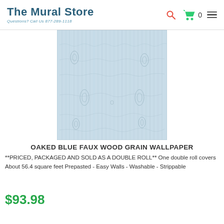The Mural Store — Questions? Call Us 877-289-1118
[Figure (illustration): Oaked Blue Faux Wood Grain Wallpaper product image showing light blue vertical wood grain pattern with knots]
OAKED BLUE FAUX WOOD GRAIN WALLPAPER
**PRICED, PACKAGED AND SOLD AS A DOUBLE ROLL** One double roll covers About 56.4 square feet Prepasted - Easy Walls - Washable - Strippable
$93.98